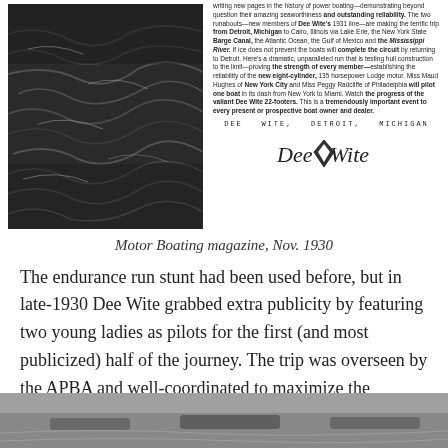[Figure (photo): Black and white photograph of rough water/waves, dark and dramatic]
[Figure (photo): Scanned advertisement from Dee Wite, Detroit, Michigan featuring text about endurance run and Dee Wite logo]
Motor Boating magazine, Nov. 1930
The endurance run stunt had been used before, but in late-1930 Dee Wite grabbed extra publicity by featuring two young ladies as pilots for the first (and most publicized) half of the journey. The trip was overseen by the APBA and well-coordinated to maximize the marketing potential, with photographers, reporters, and film cameras at every stop along the way.
[Figure (photo): Black and white photograph at bottom of page, partially visible, showing boats or watercraft]